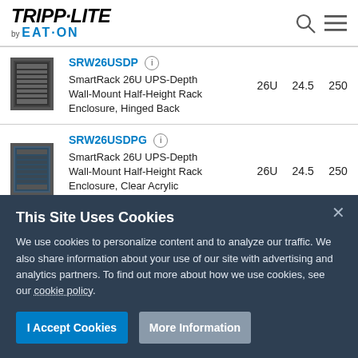[Figure (logo): Tripp-Lite by Eaton logo]
| Image | Model | U | Depth | Capacity |
| --- | --- | --- | --- | --- |
| [img] | SRW26USDP — SmartRack 26U UPS-Depth Wall-Mount Half-Height Rack Enclosure, Hinged Back | 26U | 24.5 | 250 |
| [img] | SRW26USDPG — SmartRack 26U UPS-Depth Wall-Mount Half-Height Rack Enclosure, Clear Acrylic Window, Hinged Back | 26U | 24.5 | 250 |
This Site Uses Cookies
We use cookies to personalize content and to analyze our traffic. We also share information about your use of our site with advertising and analytics partners. To find out more about how we use cookies, see our cookie policy.